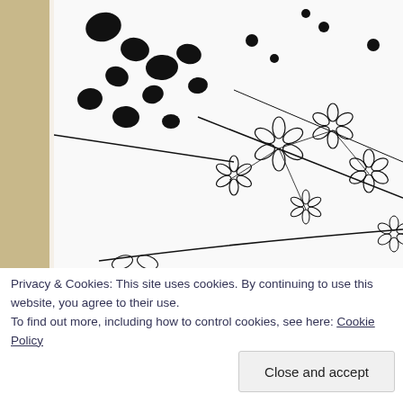[Figure (illustration): Black ink drawing on white paper showing floral/botanical motifs with circular dot shapes on branches at left and delicate flower/star shapes on thin curving stems at right, visible in the lower portion of a larger artwork]
This tile has one tangle of my ow
[Figure (illustration): Second artwork partially visible, with teal/green border and white interior, showing abstract line drawings]
Privacy & Cookies: This site uses cookies. By continuing to use this website, you agree to their use.
To find out more, including how to control cookies, see here: Cookie Policy
Close and accept